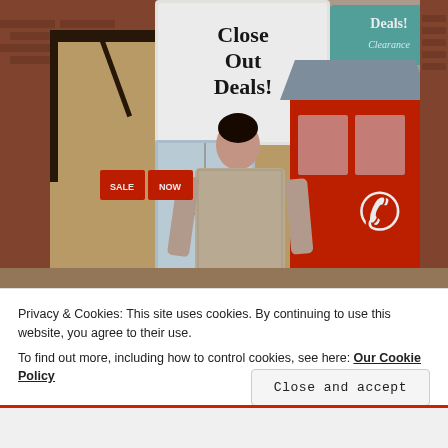[Figure (photo): Outdoor street photo of a woman in a patterned tweed coat standing next to a red British phone booth. Behind her is a brick building with a sign reading 'Close Out Deals!' and storefront windows with sale signs.]
Privacy & Cookies: This site uses cookies. By continuing to use this website, you agree to their use.
To find out more, including how to control cookies, see here: Our Cookie Policy